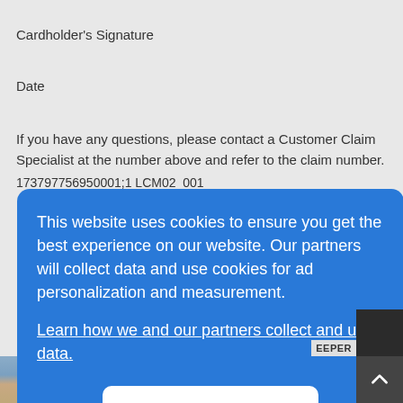Cardholder's Signature
Date
If you have any questions, please contact a Customer Claim Specialist at the number above and refer to the claim number.
173797756950001;1 LCM02_001
[Figure (screenshot): Cookie consent overlay dialog with blue background. Text reads: 'This website uses cookies to ensure you get the best experience on our website. Our partners will collect data and use cookies for ad personalization and measurement.' with a link 'Learn how we and our partners collect and use data.' and an OK button.]